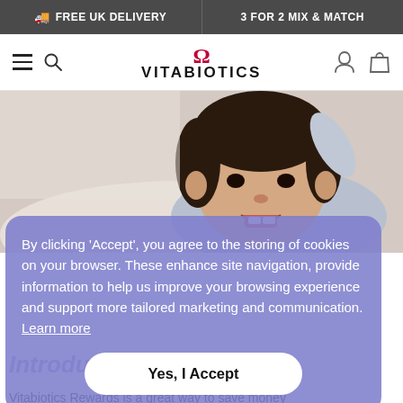FREE UK DELIVERY | 3 FOR 2 MIX & MATCH
[Figure (logo): Vitabiotics logo with red omega symbol above bold black text VITABIOTICS]
[Figure (photo): Smiling baby/toddler lying down looking up, with dark hair, wearing light colored clothing, warm background]
By clicking 'Accept', you agree to the storing of cookies on your browser. These enhance site navigation, provide information to help us improve your browsing experience and support more tailored marketing and communication. Learn more
Introducing Rewards
Vitabiotics Rewards is a great way to save money